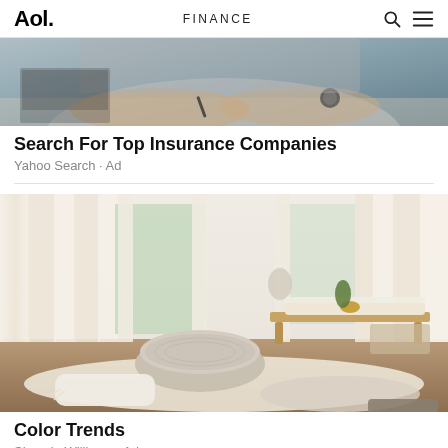Aol. | FINANCE
[Figure (photo): Person reviewing documents at a desk, wearing a watch, holding a pen]
Search For Top Insurance Companies
Yahoo Search · Ad
[Figure (photo): Bright interior living room with white curtains, a knitted pouf ottoman, wooden bench, and floor cushions]
Color Trends
Sherwin Williams · Ad